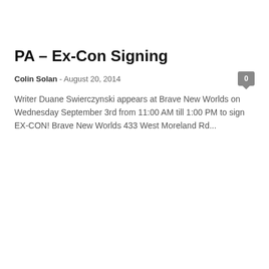PA – Ex-Con Signing
Colin Solan  -  August 20, 2014
Writer Duane Swierczynski appears at Brave New Worlds on Wednesday September 3rd from 11:00 AM till 1:00 PM to sign EX-CON! Brave New Worlds 433 West Moreland Rd...